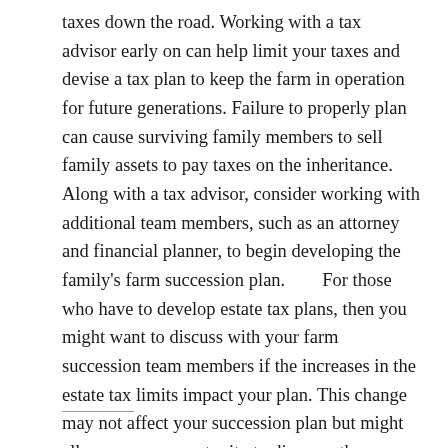taxes down the road. Working with a tax advisor early on can help limit your taxes and devise a tax plan to keep the farm in operation for future generations. Failure to properly plan can cause surviving family members to sell family assets to pay taxes on the inheritance. Along with a tax advisor, consider working with additional team members, such as an attorney and financial planner, to begin developing the family's farm succession plan.        For those who have to develop estate tax plans, then you might want to discuss with your farm succession team members if the increases in the estate tax limits impact your plan. This change may not affect your succession plan but might allow you an opportunity to discuss other changes that have happened in the farming operation over the past year.